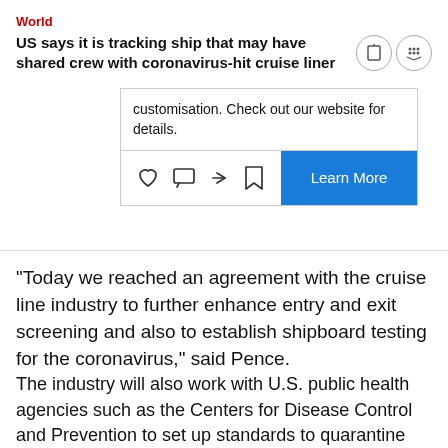World
US says it is tracking ship that may have shared crew with coronavirus-hit cruise liner
[Figure (screenshot): Advertisement box with text about customisation and a 'Learn More' button, with social action icons (heart, comment, share, bookmark)]
"Today we reached an agreement with the cruise line industry to further enhance entry and exit screening and also to establish shipboard testing for the coronavirus," said Pence.
The industry will also work with U.S. public health agencies such as the Centers for Disease Control and Prevention to set up standards to quarantine ships and to transport ill passengers to shore, Pence